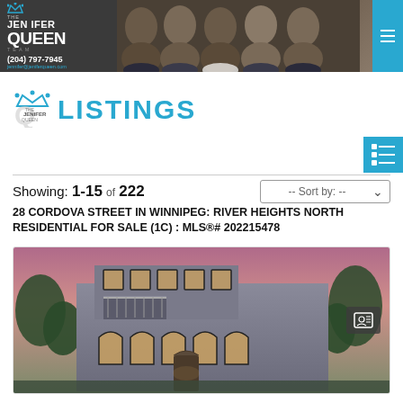[Figure (photo): The Jenifer Queen Team real estate agency header banner with team photo and logo showing phone (204) 797-7945 and email jennifer@jeniferqueen.com]
[Figure (logo): The Jenifer Queen Team logo with crown, small version, next to LISTINGS text]
LISTINGS
Showing: 1-15 of 222
28 CORDOVA STREET IN WINNIPEG: RIVER HEIGHTS NORTH RESIDENTIAL FOR SALE (1C) : MLS®# 202215478
[Figure (photo): Exterior photo of 28 Cordova Street property - a grey stucco residential home with arched windows, balcony with iron railing, and trees]